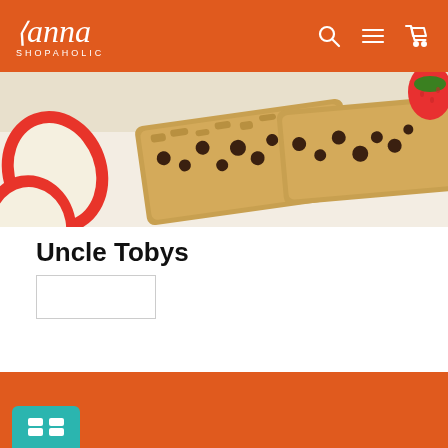Anna Shopaholic
[Figure (photo): Granola/oat bars with chocolate chips, sliced red apple, and strawberry on a white surface]
Uncle Tobys
[Figure (other): Filter/sort dropdown box (empty)]
[Figure (other): Orange background footer section with teal button showing four squares (chat/menu icon)]